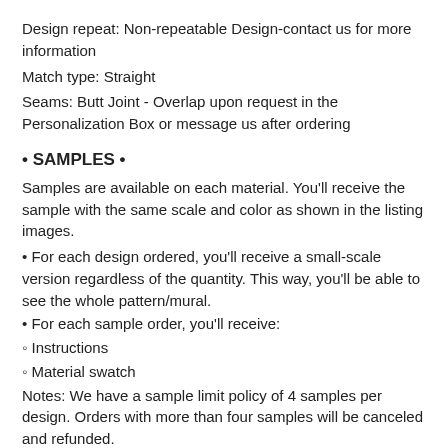Design repeat: Non-repeatable Design-contact us for more information
Match type: Straight
Seams: Butt Joint - Overlap upon request in the Personalization Box or message us after ordering
• SAMPLES •
Samples are available on each material. You'll receive the sample with the same scale and color as shown in the listing images.
• For each design ordered, you'll receive a small-scale version regardless of the quantity. This way, you'll be able to see the whole pattern/mural.
• For each sample order, you'll receive:
◦ Instructions
◦ Material swatch
Notes: We have a sample limit policy of 4 samples per design. Orders with more than four samples will be canceled and refunded.
If you have questions on how to order a sample, please refer to